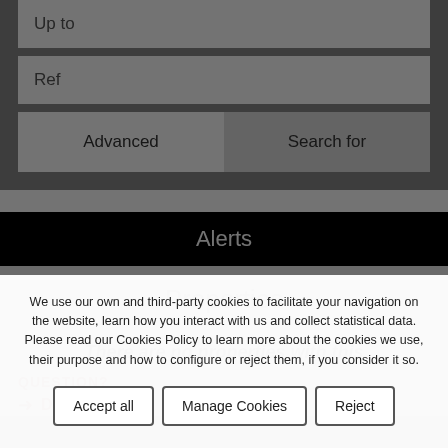Up to
Ref
Advanced
Search for
Alerts
Properties
There are no properties with this
We use our own and third-party cookies to facilitate your navigation on the website, learn how you interact with us and collect statistical data. Please read our Cookies Policy to learn more about the cookies we use, their purpose and how to configure or reject them, if you consider it so.
Accept all
Manage Cookies
Reject
QUESTION?
Discordes